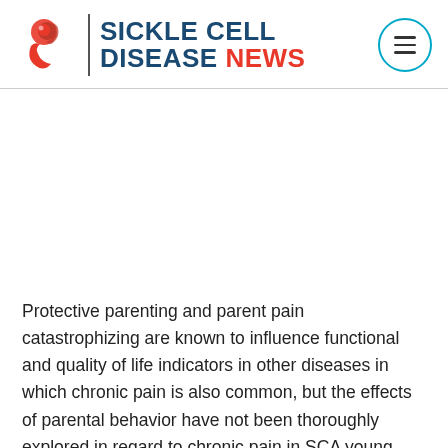[Figure (logo): Sickle Cell Disease News logo with red stylized cell icon, vertical divider line, and bold blue/red text reading SICKLE CELL DISEASE NEWS, with a teal circular hamburger menu icon on the right]
Protective parenting and parent pain catastrophizing are known to influence functional and quality of life indicators in other diseases in which chronic pain is also common, but the effects of parental behavior have not been thoroughly explored in regard to chronic pain in SCA young